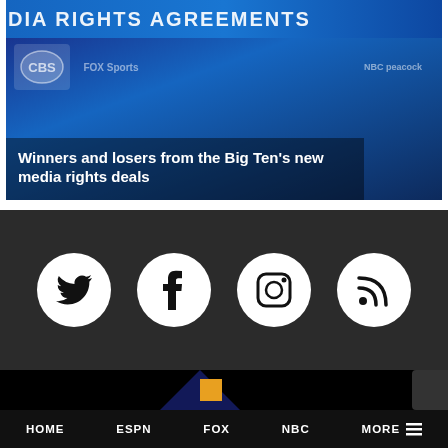[Figure (screenshot): Article card with dark blue background showing network logos (CBS, Fox Sports, NBC, Peacock) and white text overlay reading 'Winners and losers from the Big Ten's new media rights deals']
Winners and losers from the Big Ten's new media rights deals
[Figure (infographic): Row of four circular social media icons on dark grey background: Twitter bird, Facebook f, Instagram camera, RSS feed]
[Figure (screenshot): Dark/black banner section with orange square and partial blue arrow graphic visible]
HOME   ESPN   FOX   NBC   MORE ☰